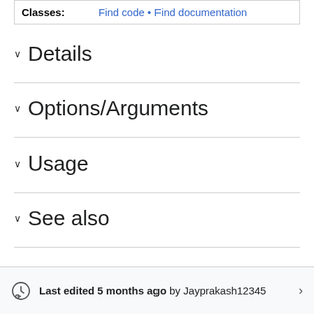| Classes: | Find code • Find documentation |
Details
Options/Arguments
Usage
See also
Last edited 5 months ago by Jayprakash12345